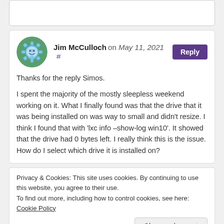[top card partial content]
Jim McCulloch on May 11, 2021 # Reply
Thanks for the reply Simos.
I spent the majority of the mostly sleepless weekend working on it. What I finally found was that the drive that it was being installed on was way to small and didn't resize. I think I found that with 'lxc info –show-log win10'. It showed that the drive had 0 bytes left. I really think this is the issue. How do I select which drive it is installed on?
Privacy & Cookies: This site uses cookies. By continuing to use this website, you agree to their use.
To find out more, including how to control cookies, see here: Cookie Policy
Close and accept
64GB RAM – 8 600GB SAS 10K Drives in a couple of various